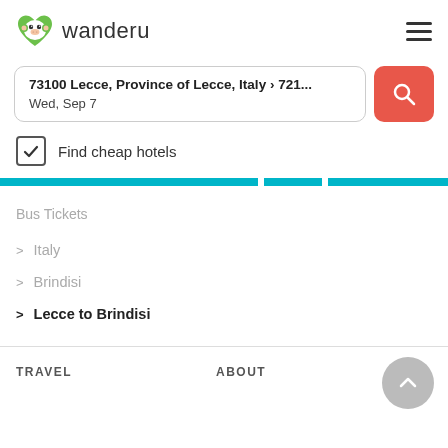[Figure (logo): Wanderu logo: green heart-shaped monkey face icon with text 'wanderu']
73100 Lecce, Province of Lecce, Italy › 721...
Wed, Sep 7
Find cheap hotels
Bus Tickets
> Italy
> Brindisi
> Lecce to Brindisi
TRAVEL
ABOUT